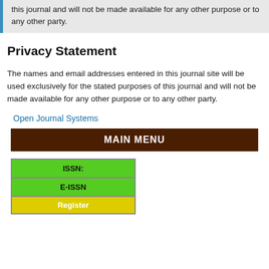this journal and will not be made available for any other purpose or to any other party.
Privacy Statement
The names and email addresses entered in this journal site will be used exclusively for the stated purposes of this journal and will not be made available for any other purpose or to any other party.
Open Journal Systems
MAIN MENU
| ISSN: |
| E-ISSN |
| Register |